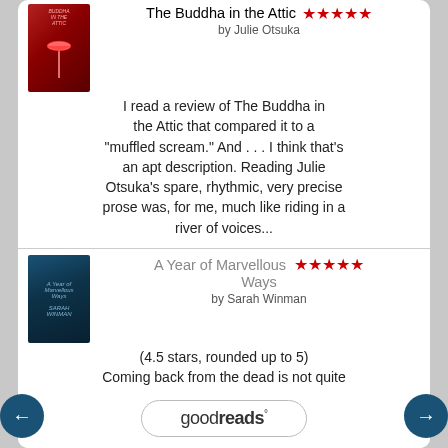[Figure (screenshot): Goodreads review widget showing two book reviews: 'The Buddha in the Attic' by Julie Otsuka (5 stars) and 'A Year of Marvellous Ways' by Sarah Winman (5 stars, 4.5 rounded up), with navigation arrows and Goodreads logo]